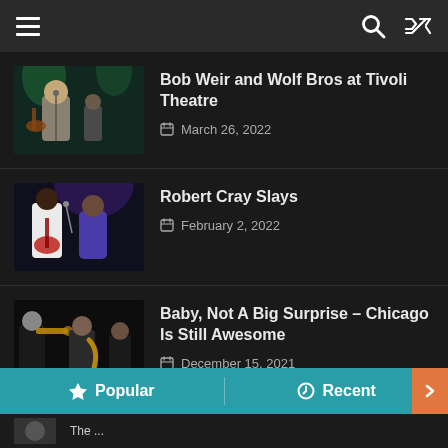Navigation bar with hamburger menu, search, and shuffle icons
Bob Weir and Wolf Bros at Tivoli Theatre
March 26, 2022
Robert Cray Slays
February 2, 2022
Baby, Not A Big Surprise – Chicago Is Still Awesome
December 15, 2021
Popular | Recent